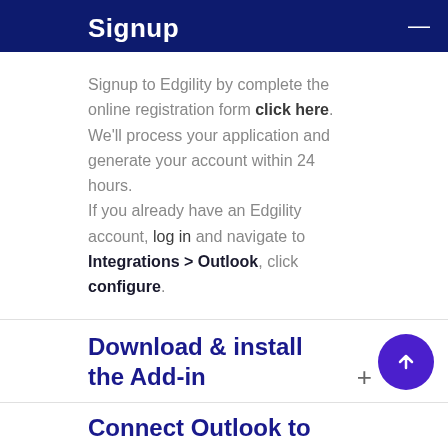Signup
Signup to Edgility by complete the online registration form click here. We'll process your application and generate your account within 24 hours. If you already have an Edgility account, log in and navigate to Integrations > Outlook, click configure.
Download & install the Add-in
Connect Outlook to Edgility